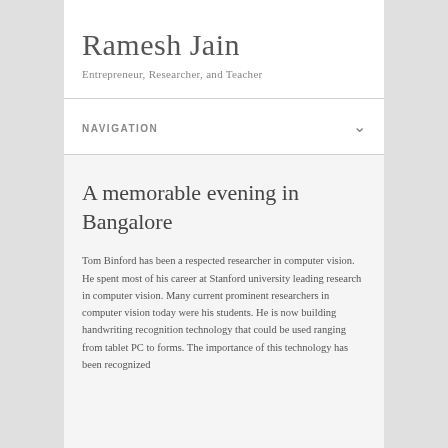Ramesh Jain
Entrepreneur, Researcher, and Teacher
NAVIGATION
A memorable evening in Bangalore
Tom Binford has been a respected researcher in computer vision. He spent most of his career at Stanford university leading research in computer vision. Many current prominent researchers in computer vision today were his students. He is now building handwriting recognition technology that could be used ranging from tablet PC to forms. The importance of this technology has been recognized